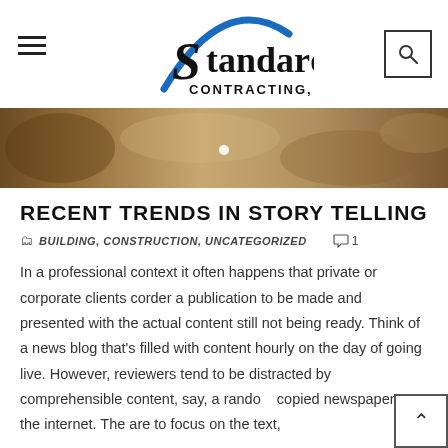[Figure (logo): Standard Contracting, Inc. logo with blue arc above bold serif text]
[Figure (photo): Hero image showing construction site with gravel/dirt and machinery]
RECENT TRENDS IN STORY TELLING
BUILDING, CONSTRUCTION, UNCATEGORIZED   1
In a professional context it often happens that private or corporate clients corder a publication to be made and presented with the actual content still not being ready. Think of a news blog that's filled with content hourly on the day of going live. However, reviewers tend to be distracted by comprehensible content, say, a randomly copied newspaper or the internet. The are to focus on the text,